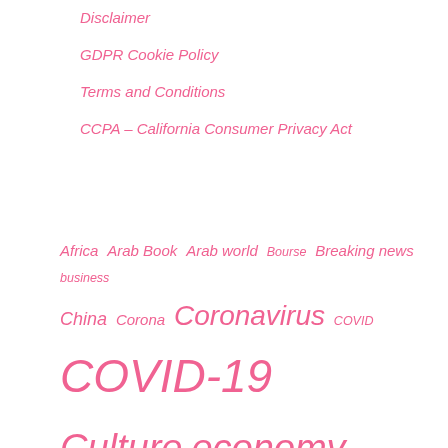Disclaimer
GDPR Cookie Policy
Terms and Conditions
CCPA – California Consumer Privacy Act
[Figure (infographic): Tag cloud with pink italic terms of varying sizes: Africa, Arab Book, Arab world, Bourse, Breaking news, business, China, Corona, Coronavirus, COVID, COVID-19, Culture, economy, Europe, Football, France, from, health, International, investment, Latest news, Lebanon..., Manorama Online, new, News, News Agency, newspaper, Paris stock exchange, Political news, politics, quotes, results, Russia, sport, Sports, technology, trot, TV, UAE, Ukraine, USA, world...]